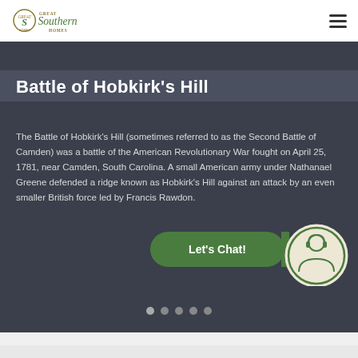[Figure (logo): Great Southern Homes logo with decorative shield emblem]
Battle of Hobkirk's Hill
The Battle of Hobkirk's Hill (sometimes referred to as the Second Battle of Camden) was a battle of the American Revolutionary War fought on April 25, 1781, near Camden, South Carolina. A small American army under Nathanael Greene defended a ridge known as Hobkirk's Hill against an attack by an even smaller British force led by Francis Rawdon.
[Figure (illustration): Let's Chat button with customer service agent icon in circular badge]